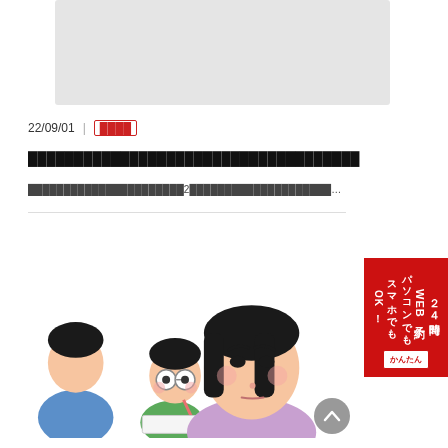[Figure (illustration): Gray placeholder rectangle at top of page]
22/09/01  |  ████
████████████████████████████████
██████████████████████2████████████████████████2████████████2022年9月30日████████████
[Figure (illustration): Japanese cartoon illustration showing three characters sitting at desks — a frustrated-looking woman in purple in the foreground, a boy with glasses in the middle, and another figure on the left. Exam/classroom setting.]
[Figure (infographic): Red vertical sidebar banner reading '24時間WEB予約 パソコンでもスマホでもOK!' with a small 'かんたん' button below]